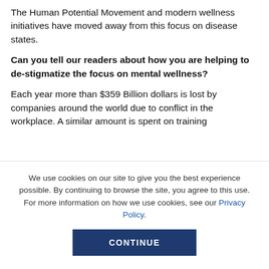The Human Potential Movement and modern wellness initiatives have moved away from this focus on disease states.
Can you tell our readers about how you are helping to de-stigmatize the focus on mental wellness?
Each year more than $359 Billion dollars is lost by companies around the world due to conflict in the workplace. A similar amount is spent on training
We use cookies on our site to give you the best experience possible. By continuing to browse the site, you agree to this use. For more information on how we use cookies, see our Privacy Policy.
CONTINUE